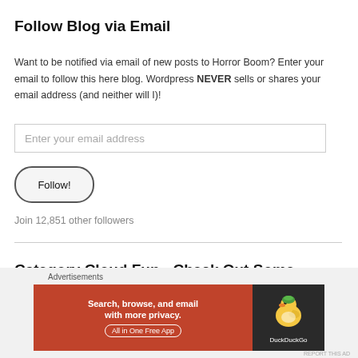Follow Blog via Email
Want to be notified via email of new posts to Horror Boom? Enter your email to follow this here blog. Wordpress NEVER sells or shares your email address (and neither will I)!
Enter your email address
Follow!
Join 12,851 other followers
Category Cloud Fun - Check Out Some Topics You Dig!
Advertisements
[Figure (screenshot): DuckDuckGo advertisement banner: orange section with text 'Search, browse, and email with more privacy. All in One Free App' and dark section with DuckDuckGo duck logo]